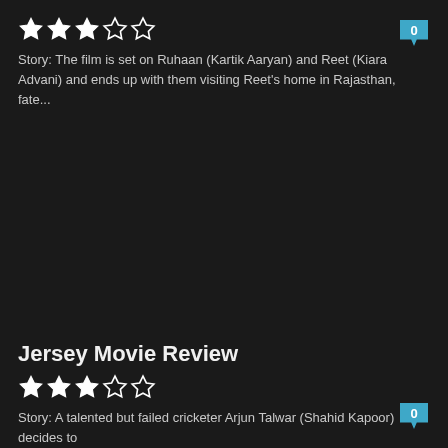[Figure (other): Star rating: 3 out of 5 stars (3 filled, 2 empty)]
0
Story: The film is set on Ruhaan (Kartik Aaryan) and Reet (Kiara Advani) and ends up with them visiting Reet's home in Rajasthan, fate...
Jersey Movie Review
[Figure (other): Star rating: 3 out of 5 stars (3 filled, 2 empty)]
0
Story: A talented but failed cricketer Arjun Talwar (Shahid Kapoor) decides to